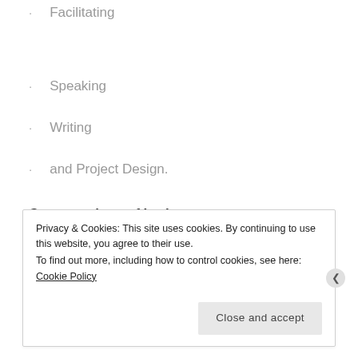Facilitating
Speaking
Writing
and Project Design.
Conversations of Intrigue
Privacy & Cookies: This site uses cookies. By continuing to use this website, you agree to their use.
To find out more, including how to control cookies, see here: Cookie Policy
Close and accept